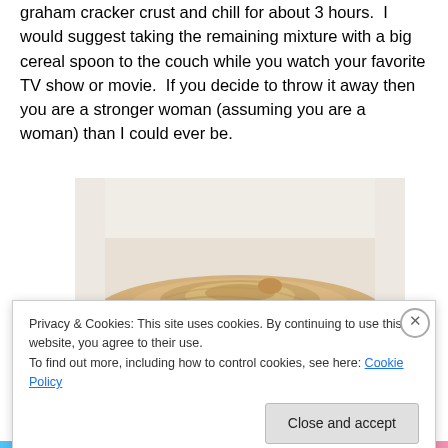graham cracker crust and chill for about 3 hours.  I would suggest taking the remaining mixture with a big cereal spoon to the couch while you watch your favorite TV show or movie.  If you decide to throw it away then you are a stronger woman (assuming you are a woman) than I could ever be.
[Figure (photo): A pie with a creamy beige/tan filling in a silver/dark round pie tin, viewed from above on a light surface.]
Privacy & Cookies: This site uses cookies. By continuing to use this website, you agree to their use.
To find out more, including how to control cookies, see here: Cookie Policy